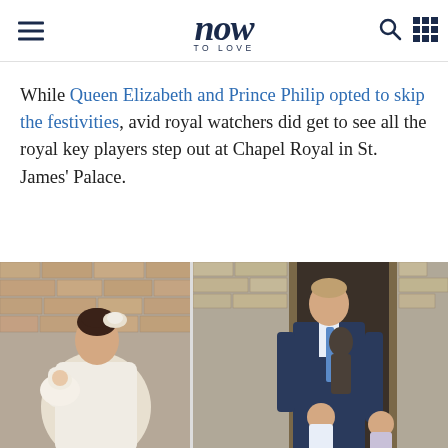now TO LOVE
While Queen Elizabeth and Prince Philip opted to skip the festivities, avid royal watchers did get to see all the royal key players step out at Chapel Royal in St. James' Palace.
[Figure (photo): Two-panel photo collage: left panel shows Kate Middleton in white dress holding baby Prince Louis; right panel shows Prince William in navy suit walking with Prince George and Princess Charlotte outside Chapel Royal, St. James' Palace.]